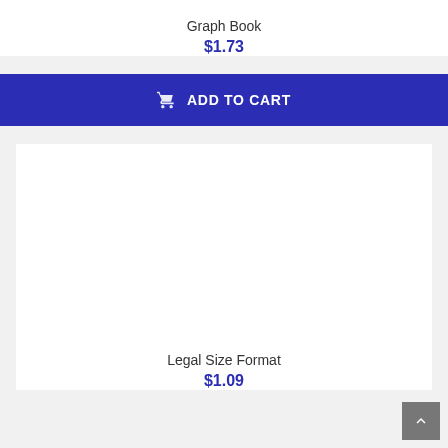Graph Book
$1.73
ADD TO CART
[Figure (other): Empty white product image area for Legal Size Format]
Legal Size Format
$1.09